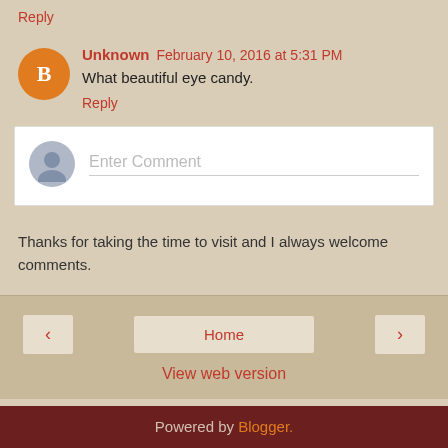Reply
Unknown February 10, 2016 at 5:31 PM
What beautiful eye candy.
Reply
Enter Comment
Thanks for taking the time to visit and I always welcome comments.
Home
View web version
Powered by Blogger.